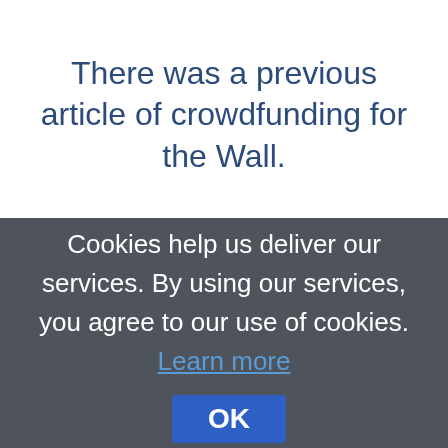There was a previous article of crowdfunding for the Wall.
Cookies help us deliver our services. By using our services, you agree to our use of cookies. Learn more OK